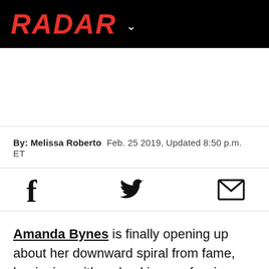RADAR
By: Melissa Roberto  Feb. 25 2019, Updated 8:50 p.m. ET
[Figure (other): Social sharing icons: Facebook, Twitter, Email]
Amanda Bynes is finally opening up about her downward spiral from fame, beginning with a shocking confession